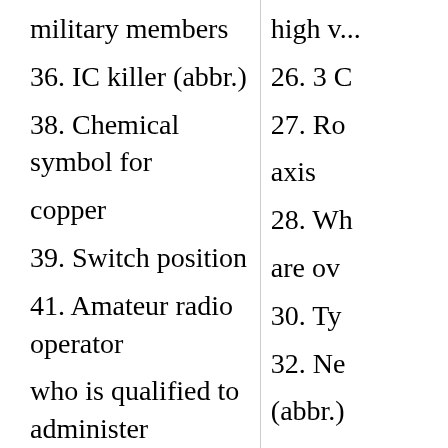military members
high v...
36. IC killer (abbr.)
26. 3 C...
38. Chemical symbol for copper
27. Ro... axis
39. Switch position
28. Wh... are ov...
41. Amateur radio operator who is qualified to administer Amateur Radio licensing examinations (abbr.)
30. Ty...
32. Ne...
(abbr.)